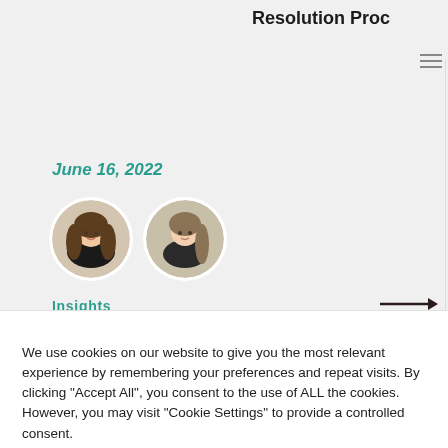Resolution Proc
June 16, 2022
[Figure (photo): Two circular portrait photos of women]
Insights
April 21, 2022
[Figure (photo): Two circular portrait photos - woman with glasses and man in suit]
Insights
We use cookies on our website to give you the most relevant experience by remembering your preferences and repeat visits. By clicking “Accept All”, you consent to the use of ALL the cookies. However, you may visit "Cookie Settings" to provide a controlled consent.